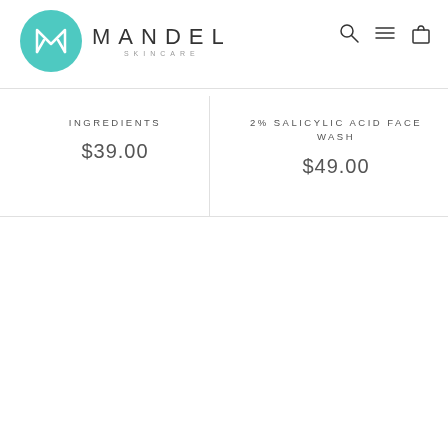MANDEL SKINCARE
INGREDIENTS $39.00
2% SALICYLIC ACID FACE WASH $49.00